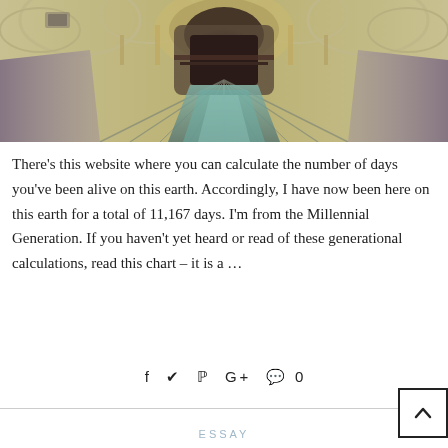[Figure (photo): Interior architectural photograph of a grand hall with arched ceilings, viewed from above, with mirrored/kaleidoscopic processing giving a symmetrical appearance. Colors are muted yellow, teal, and dark tones.]
There’s this website where you can calculate the number of days you’ve been alive on this earth. Accordingly, I have now been here on this earth for a total of 11,167 days. I’m from the Millennial Generation. If you haven’t yet heard or read of these generational calculations, read this chart – it is a …
f  ✓  P  G+  💬 0
ESSAY